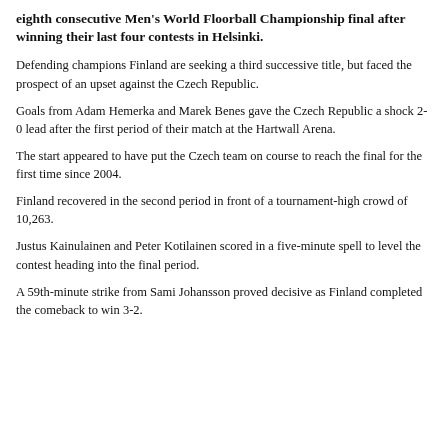eighth consecutive Men's World Floorball Championship final after winning their last four contests in Helsinki.
Defending champions Finland are seeking a third successive title, but faced the prospect of an upset against the Czech Republic.
Goals from Adam Hemerka and Marek Benes gave the Czech Republic a shock 2-0 lead after the first period of their match at the Hartwall Arena.
The start appeared to have put the Czech team on course to reach the final for the first time since 2004.
Finland recovered in the second period in front of a tournament-high crowd of 10,263.
Justus Kainulainen and Peter Kotilainen scored in a five-minute spell to level the contest heading into the final period.
A 59th-minute strike from Sami Johansson proved decisive as Finland completed the comeback to win 3-2.